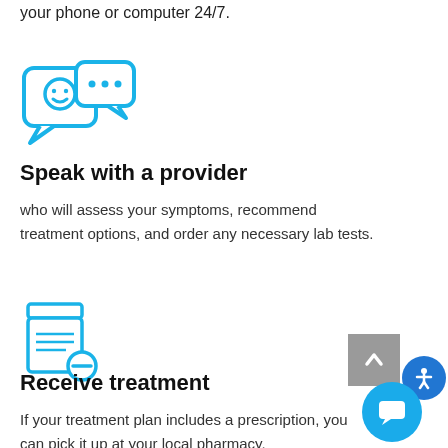your phone or computer 24/7.
[Figure (illustration): Blue chat bubble icon with a smiley face and another chat bubble with ellipsis dots]
Speak with a provider
who will assess your symptoms, recommend treatment options, and order any necessary lab tests.
[Figure (illustration): Blue prescription/medication bottle icon with a minus symbol]
Receive treatment
If your treatment plan includes a prescription, you can pick it up at your local pharmacy.